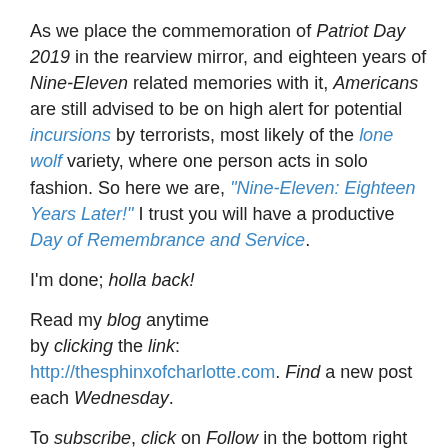As we place the commemoration of Patriot Day 2019 in the rearview mirror, and eighteen years of Nine-Eleven related memories with it, Americans are still advised to be on high alert for potential incursions by terrorists, most likely of the lone wolf variety, where one person acts in solo fashion. So here we are, "Nine-Eleven: Eighteen Years Later!" I trust you will have a productive Day of Remembrance and Service.
I'm done; holla back!
Read my blog anytime by clicking the link: http://thesphinxofcharlotte.com. Find a new post each Wednesday.
To subscribe, click on Follow in the bottom right hand corner of my Home